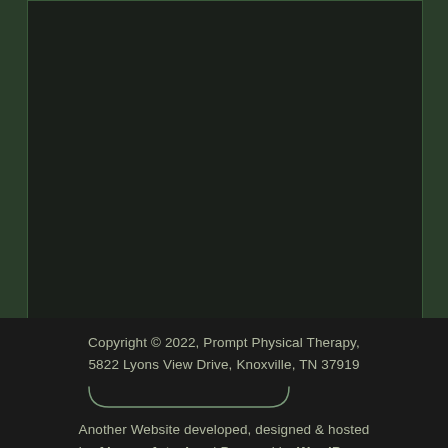[Figure (other): Dark panel area showing a near-black background with subtle texture, bordered by a dark green frame]
Copyright © 2022, Prompt Physical Therapy, 5822 Lyons View Drive, Knoxville, TN 37919
Another Website developed, designed & hosted by Abacus Arts, Inc. | Powered by WordPress